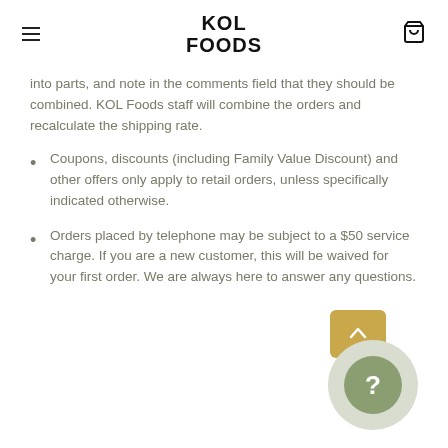KOL FOODS
into parts, and note in the comments field that they should be combined. KOL Foods staff will combine the orders and recalculate the shipping rate.
Coupons, discounts (including Family Value Discount) and other offers only apply to retail orders, unless specifically indicated otherwise.
Orders placed by telephone may be subject to a $50 service charge. If you are a new customer, this will be waived for your first order. We are always here to answer any questions.